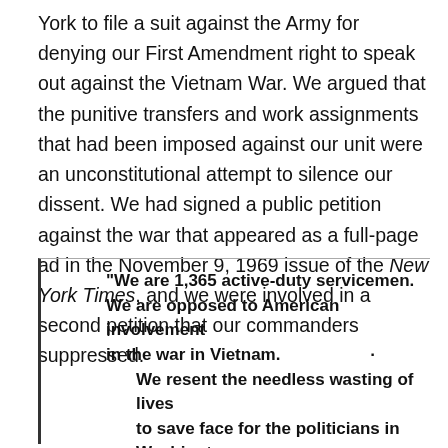York to file a suit against the Army for denying our First Amendment right to speak out against the Vietnam War. We argued that the punitive transfers and work assignments that had been imposed against our unit were an unconstitutional attempt to silence our dissent. We had signed a public petition against the war that appeared as a full-page ad in the November 9, 1969 issue of the New York Times, and we were involved in a second petition that our commanders suppressed.
"We are 1,365 active-duty servicemen. We are opposed to American involvement in the war in Vietnam. · We resent the needless wasting of lives to save face for the politicians in Washington. We speak, believing our views are shared by many of our fellow servicemen. Join us!"